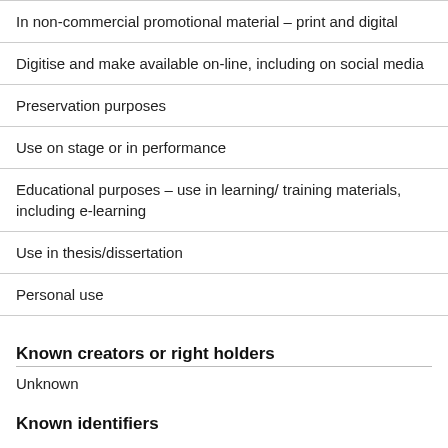In non-commercial promotional material – print and digital
Digitise and make available on-line, including on social media
Preservation purposes
Use on stage or in performance
Educational purposes – use in learning/ training materials, including e-learning
Use in thesis/dissertation
Personal use
Known creators or right holders
Unknown
Known identifiers